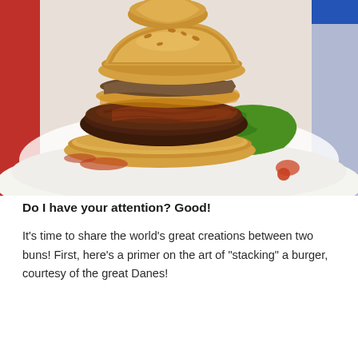[Figure (photo): Close-up photograph of a gourmet burger on a white plate. The burger features a thick meat patty with dark caramelized sauce and mushrooms, sandwiched between toasted buns, topped with cheese, and garnished with fresh curly green lettuce/kale. Red/orange sauce is drizzled on the plate. Background shows red and blue colors.]
Do I have your attention? Good!
It’s time to share the world’s great creations between two buns! First, here’s a primer on the art of “stacking” a burger, courtesy of the great Danes!